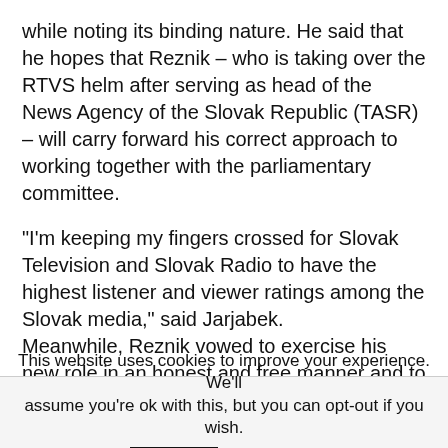while noting its binding nature. He said that he hopes that Reznik – who is taking over the RTVS helm after serving as head of the News Agency of the Slovak Republic (TASR) – will carry forward his correct approach to working together with the parliamentary committee.
“I’m keeping my fingers crossed for Slovak Television and Slovak Radio to have the highest listener and viewer ratings among the Slovak media,” said Jarjabek. Meanwhile, Reznik vowed to exercise his new role in an honest and free manner and to the benefit of the public as a whole.
“RTVS is set to face a number of tasks over the next five years.
This website uses cookies to improve your experience. We’ll assume you’re ok with this, but you can opt-out if you wish.